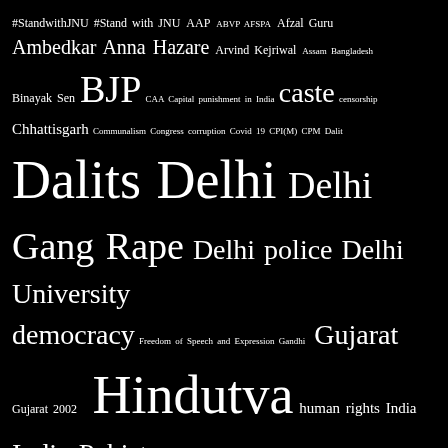[Figure (infographic): Word cloud on black background featuring Indian political and social topics in varying font sizes indicating frequency/importance. Terms include: #StandwithJNU, #Stand with JNU, AAP, ABVP, AFSPA, Afzal Guru, Ambedkar, Anna Hazare, Arvind Kejriwal, Assam, Bangladesh, Binayak Sen, BJP, CAA, Capital punishment in India, caste, censorship, Chhattisgarh, Communalism, Congress, corruption, Covid 19, CPI(M), CPM, Dalit, Dalits, Delhi, Delhi Gang Rape, Delhi police, Delhi University, democracy, Freedom of Speech and Expression, Gandhi, Gujarat, Gujarat 2002, Hindutva, human rights, India, India-Pakistan, Indian Muslims, Internet Censorship in India, Israel, JNU, jnusu, Kanhaiya Kumar, Kashmir, Kashmir human rights, Kerala, Maoists, Modi, Mumbai, Muslims, Nandigram, Narendra Modi, nationalism, nepal, NRC, Pakistan, Palestine, Pinarayi Vijayan, rape, Rohith Vemula, RSS, secularism, sedition, sexual harassment, Smriti Irani, sri lanka, Supreme Court, terrorism, Umar Khalid, Uttar Pradesh, violence against women, We Are All Seditious Now, West Bengal]